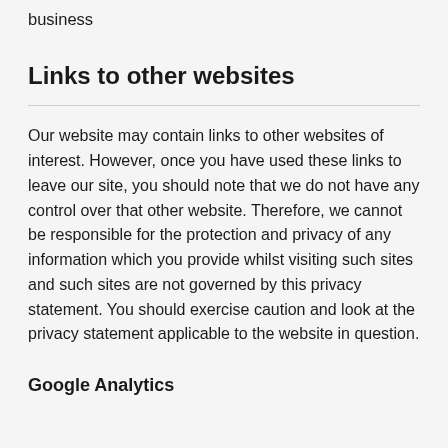business
Links to other websites
Our website may contain links to other websites of interest. However, once you have used these links to leave our site, you should note that we do not have any control over that other website. Therefore, we cannot be responsible for the protection and privacy of any information which you provide whilst visiting such sites and such sites are not governed by this privacy statement. You should exercise caution and look at the privacy statement applicable to the website in question.
Google Analytics